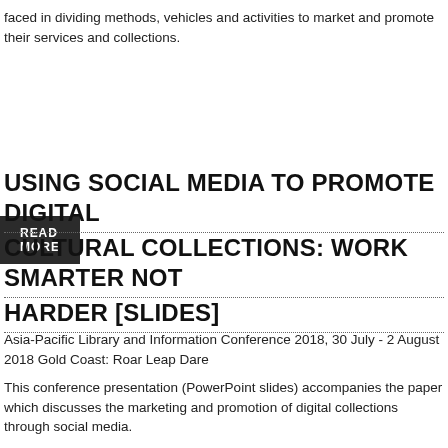faced in dividing methods, vehicles and activities to market and promote their services and collections.
READ MORE
USING SOCIAL MEDIA TO PROMOTE DIGITAL CULTURAL COLLECTIONS: WORK SMARTER NOT HARDER [SLIDES]
Asia-Pacific Library and Information Conference 2018, 30 July - 2 August 2018 Gold Coast: Roar Leap Dare
This conference presentation (PowerPoint slides) accompanies the paper which discusses the marketing and promotion of digital collections through social media.